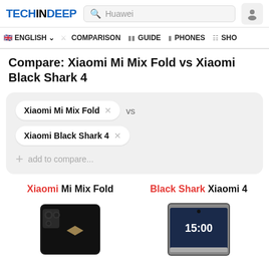TECHINDEEP | Search: Huawei | ENGLISH | COMPARISON | GUIDE | PHONES | SHO
Compare: Xiaomi Mi Mix Fold vs Xiaomi Black Shark 4
Xiaomi Mi Mix Fold × vs
Xiaomi Black Shark 4 ×
+ add to compare...
Xiaomi Mi Mix Fold | Black Shark Xiaomi 4
[Figure (photo): Photo of Xiaomi Mi Mix Fold phone (black, folded, showing camera module)]
[Figure (photo): Photo of Xiaomi Black Shark 4 phone (silver/grey, showing front screen with time 15:00)]